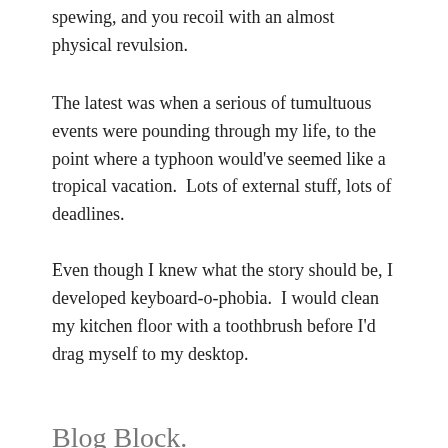spewing, and you recoil with an almost physical revulsion.
The latest was when a serious of tumultuous events were pounding through my life, to the point where a typhoon would've seemed like a tropical vacation.  Lots of external stuff, lots of deadlines.
Even though I knew what the story should be, I developed keyboard-o-phobia.  I would clean my kitchen floor with a toothbrush before I'd drag myself to my desktop.
Blog Block.
You guys know that my website imploded.  Rather, I stupidly decided to try to install an add-on that had no earthly business being on my WordPress site, and it spanked me for my impertinence.  In my non-techie way, I